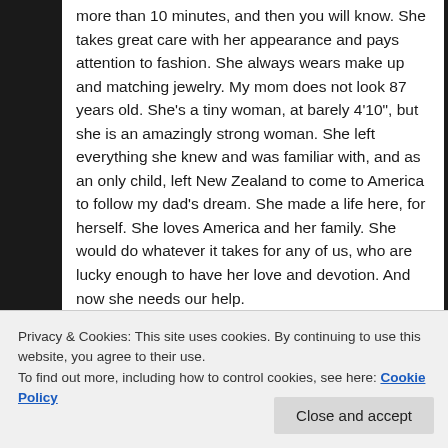more than 10 minutes, and then you will know. She takes great care with her appearance and pays attention to fashion. She always wears make up and matching jewelry. My mom does not look 87 years old. She's a tiny woman, at barely 4'10", but she is an amazingly strong woman. She left everything she knew and was familiar with, and as an only child, left New Zealand to come to America to follow my dad's dream. She made a life here, for herself. She loves America and her family. She would do whatever it takes for any of us, who are lucky enough to have her love and devotion. And now she needs our help.
Privacy & Cookies: This site uses cookies. By continuing to use this website, you agree to their use. To find out more, including how to control cookies, see here: Cookie Policy
I haven't lived with her since before I was married. I have